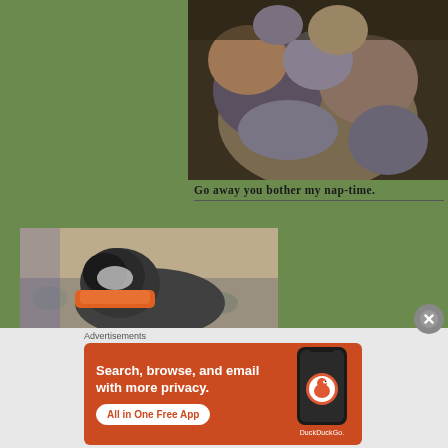[Figure (photo): Close-up photo of cats/animals cuddled together sleeping, taken from above]
Go away you bother my nap-time.
[Figure (photo): A cat or small animal wearing an orange bandana/scarf, lying on a patterned blanket on a couch]
Advertisements
[Figure (screenshot): DuckDuckGo advertisement: Search, browse, and email with more privacy. All in One Free App. Shows a phone with DuckDuckGo app.]